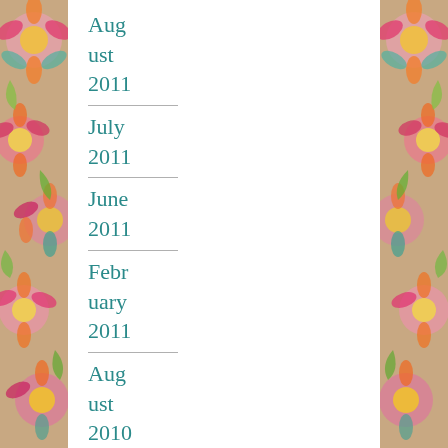August 2011
July 2011
June 2011
February 2011
August 2010